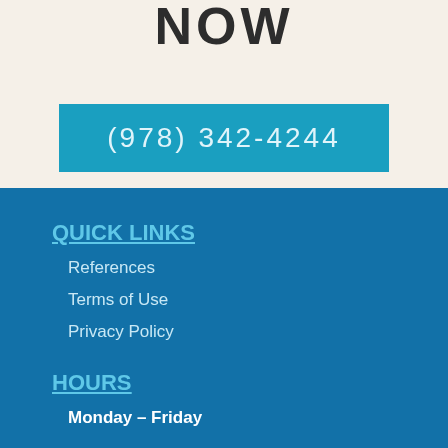NOW
(978) 342-4244
QUICK LINKS
References
Terms of Use
Privacy Policy
HOURS
Monday – Friday